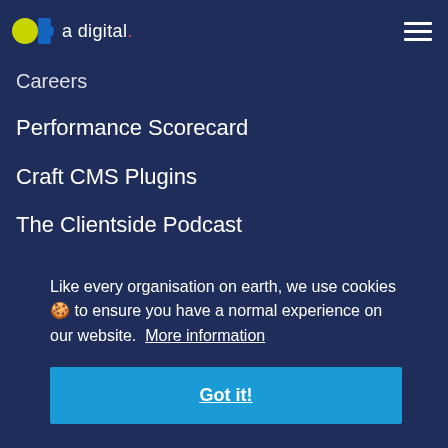a digital.
Careers
Performance Scorecard
Craft CMS Plugins
The Clientside Podcast
Podcast Studio
Media Pack
Covid Safety Policy
Like every organisation on earth, we use cookies 🍪 to ensure you have a normal experience on our website.  More information
Got it!